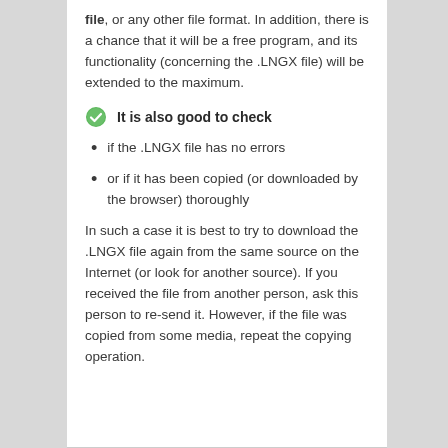file, or any other file format. In addition, there is a chance that it will be a free program, and its functionality (concerning the .LNGX file) will be extended to the maximum.
It is also good to check
if the .LNGX file has no errors
or if it has been copied (or downloaded by the browser) thoroughly
In such a case it is best to try to download the .LNGX file again from the same source on the Internet (or look for another source). If you received the file from another person, ask this person to re-send it. However, if the file was copied from some media, repeat the copying operation.